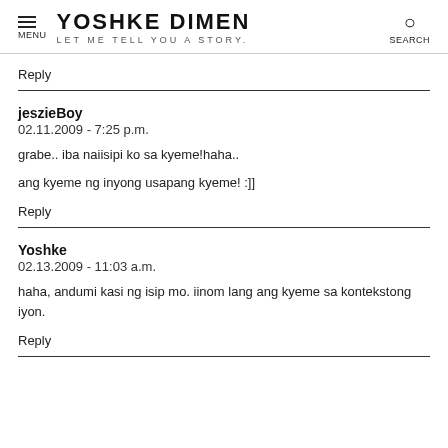MENU | YOSHKE DIMEN LET ME TELL YOU A STORY. | SEARCH
Reply
jeszieBoy
02.11.2009 - 7:25 p.m.

grabe.. iba naiisipi ko sa kyeme!haha..

ang kyeme ng inyong usapang kyeme! :]]
Reply
Yoshke
02.13.2009 - 11:03 a.m.

haha, andumi kasi ng isip mo. iinom lang ang kyeme sa kontekstong iyon.
Reply